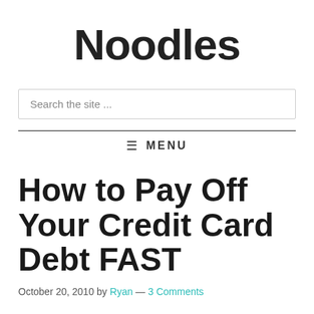Noodles
Search the site ...
≡ MENU
How to Pay Off Your Credit Card Debt FAST
October 20, 2010 by Ryan — 3 Comments